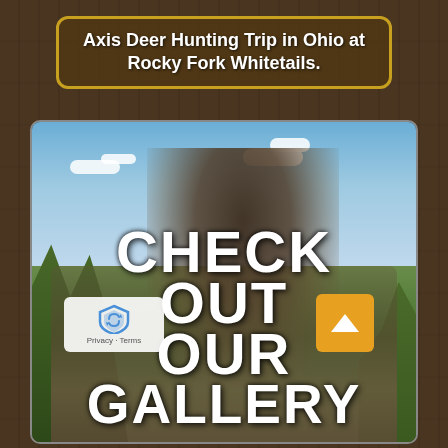Axis Deer Hunting Trip in Ohio at Rocky Fork Whitetails.
[Figure (photo): A hunter in camouflage clothing and a black cap kneeling behind a large buck deer with massive antlers, outdoors on a grassy hillside with blue sky and trees in background. Overlaid text reads CHECK OUT OUR GALLERY.]